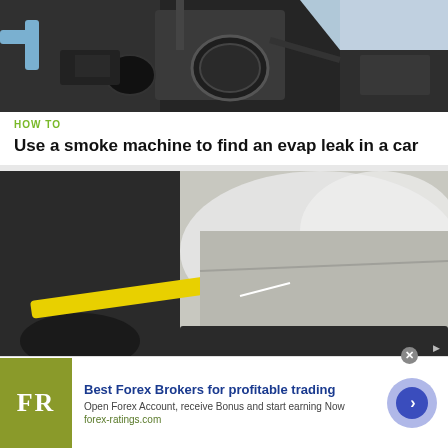[Figure (photo): Close-up photo of a car engine bay showing black engine components, hoses, and a circular cap on a dark background]
HOW TO
Use a smoke machine to find an evap leak in a car
[Figure (photo): Photo of a hand inserting a smoke machine probe (yellow tube with black rubber cone/plunger) into a car's tailpipe/evap port, with white smoke visible against a silver car body]
Best Forex Brokers for profitable trading
Open Forex Account, receive Bonus and start earning Now
forex-ratings.com